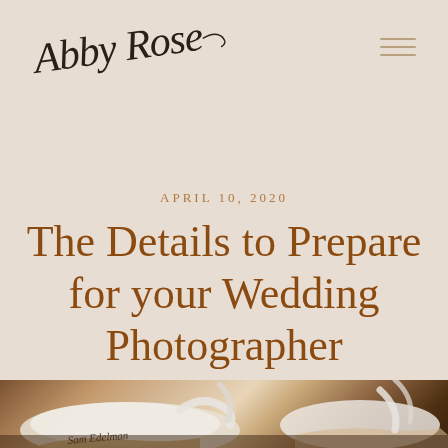Abby Rose
APRIL 10, 2020
The Details to Prepare for your Wedding Photographer
[Figure (photo): Close-up photograph of white wedding shoes/heels with ribbon ties on a wooden surface, with 'Sam Edelman' written on the sole visible]